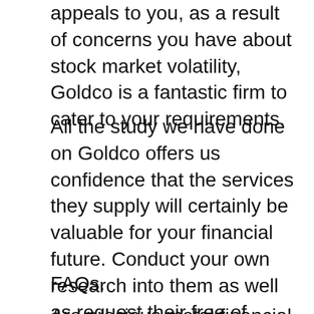appeals to you, as a result of concerns you have about stock market volatility, Goldco is a fantastic firm to cater to your requirements.
All the study we have done on Goldco offers us confidence that the services they supply will certainly be valuable for your financial future. Conduct your own research into them as well as request their free of charge overview regarding self guided Individual retirement accounts. Once you are completely satisfied, you can get your account set up straightaway.
FAQs.
Are precious metal financial investments a